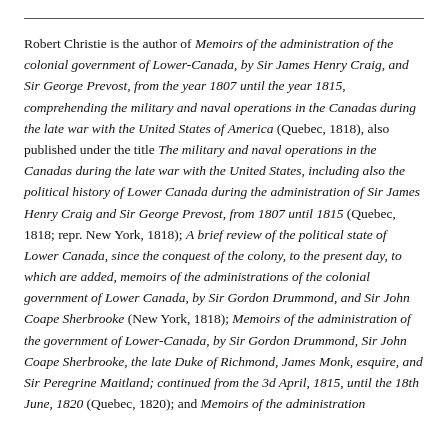Robert Christie is the author of Memoirs of the administration of the colonial government of Lower-Canada, by Sir James Henry Craig, and Sir George Prevost, from the year 1807 until the year 1815, comprehending the military and naval operations in the Canadas during the late war with the United States of America (Quebec, 1818), also published under the title The military and naval operations in the Canadas during the late war with the United States, including also the political history of Lower Canada during the administration of Sir James Henry Craig and Sir George Prevost, from 1807 until 1815 (Quebec, 1818; repr. New York, 1818); A brief review of the political state of Lower Canada, since the conquest of the colony, to the present day, to which are added, memoirs of the administrations of the colonial government of Lower Canada, by Sir Gordon Drummond, and Sir John Coape Sherbrooke (New York, 1818); Memoirs of the administration of the government of Lower-Canada, by Sir Gordon Drummond, Sir John Coape Sherbrooke, the late Duke of Richmond, James Monk, esquire, and Sir Peregrine Maitland; continued from the 3d April, 1815, until the 18th June, 1820 (Quebec, 1820); and Memoirs of the administration